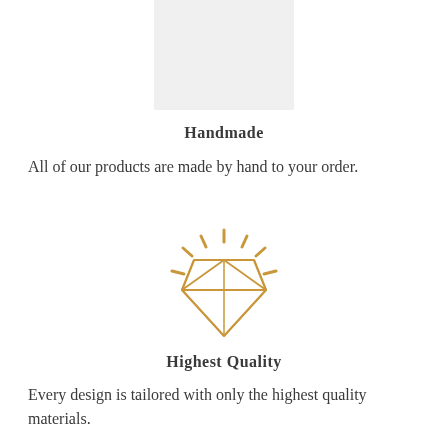[Figure (photo): Product image placeholder - light grey rectangle]
Handmade
All of our products are made by hand to your order.
[Figure (illustration): Golden diamond/gem icon with sparkle rays around it]
Highest Quality
Every design is tailored with only the highest quality materials.